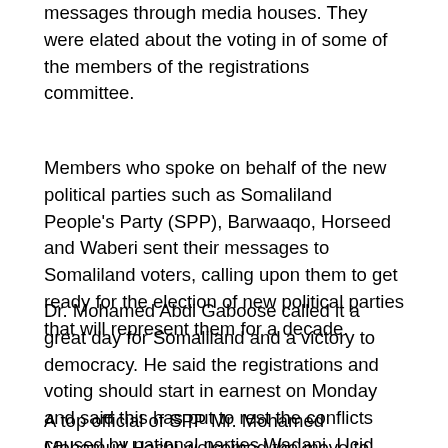messages through media houses. They were elated about the voting in of some of the members of the registrations committee.
Members who spoke on behalf of the new political parties such as Somaliland People's Party (SPP), Barwaaqo, Horseed and Waberi sent their messages to Somaliland voters, calling upon them to get ready for the election of new political parties that will represent them for a decade.
Dr. Mohamed Abdi Gaboose called it a great day for Somaliland and a victory to democracy. He said the registrations and voting should start in earnest on Monday and said this has put to rest the conflicts caused by national parties Wadani, Ucid and Kulmiye.
A top official of SPP Mr. Mohamed Mohamud Hashi welcomed the move to start the registrations of new political